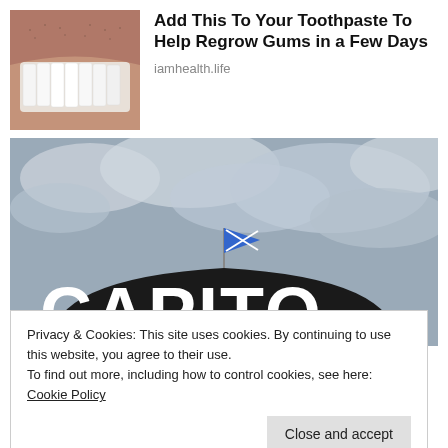[Figure (photo): Close-up photo of a man's smile showing white teeth and facial stubble]
Add This To Your Toothpaste To Help Regrow Gums in a Few Days
iamhealth.life
[Figure (photo): Photo of the top of a Capitol building with large white letters spelling CAPITO and a blue flag on top against a cloudy sky]
Privacy & Cookies: This site uses cookies. By continuing to use this website, you agree to their use.
To find out more, including how to control cookies, see here: Cookie Policy
Close and accept
amid backlash